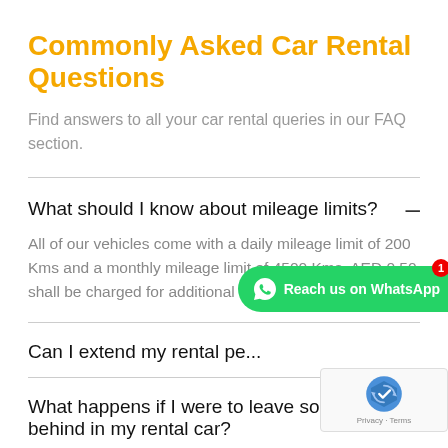Commonly Asked Car Rental Questions
Find answers to all your car rental queries in our FAQ section.
What should I know about mileage limits?
All of our vehicles come with a daily mileage limit of 200 Kms and a monthly mileage limit of 4500 Kms. AED 0.50 shall be charged for additional Kms.
Can I extend my rental p...
What happens if I were to leave something behind in my rental car?
[Figure (other): WhatsApp contact button overlay with green background reading 'Reach us on WhatsApp' and a red notification badge showing '1']
[Figure (other): Google reCAPTCHA widget with logo and Privacy/Terms links]